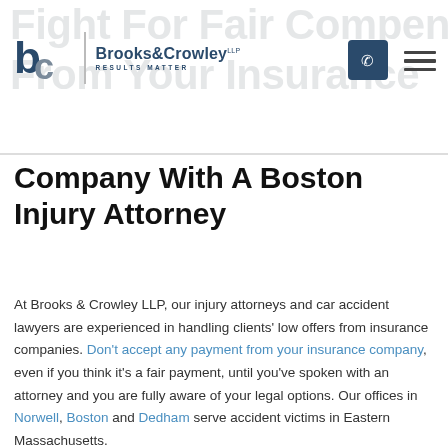Brooks & Crowley LLP — RESULTS MATTER
Company With A Boston Injury Attorney
At Brooks & Crowley LLP, our injury attorneys and car accident lawyers are experienced in handling clients' low offers from insurance companies. Don't accept any payment from your insurance company, even if you think it's a fair payment, until you've spoken with an attorney and you are fully aware of your legal options. Our offices in Norwell, Boston and Dedham serve accident victims in Eastern Massachusetts.